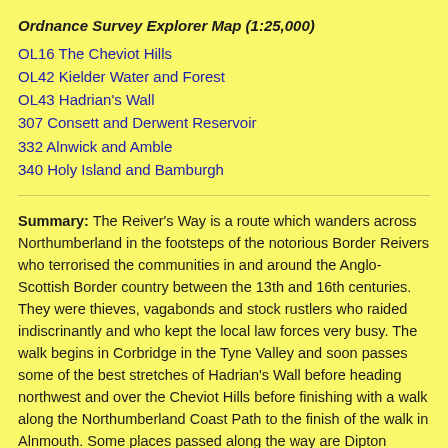Ordnance Survey Explorer Map (1:25,000)
OL16 The Cheviot Hills
OL42 Kielder Water and Forest
OL43 Hadrian's Wall
307 Consett and Derwent Reservoir
332 Alnwick and Amble
340 Holy Island and Bamburgh
Summary: The Reiver's Way is a route which wanders across Northumberland in the footsteps of the notorious Border Reivers who terrorised the communities in and around the Anglo-Scottish Border country between the 13th and 16th centuries. They were thieves, vagabonds and stock rustlers who raided indiscrinantly and who kept the local law forces very busy. The walk begins in Corbridge in the Tyne Valley and soon passes some of the best stretches of Hadrian's Wall before heading northwest and over the Cheviot Hills before finishing with a walk along the Northumberland Coast Path to the finish of the walk in Alnmouth. Some places passed along the way are Dipton Wood, Slaley Forest, Lilswood Moor, Hexhamshire Common, Allendale Town, Allen Banks, Bardon